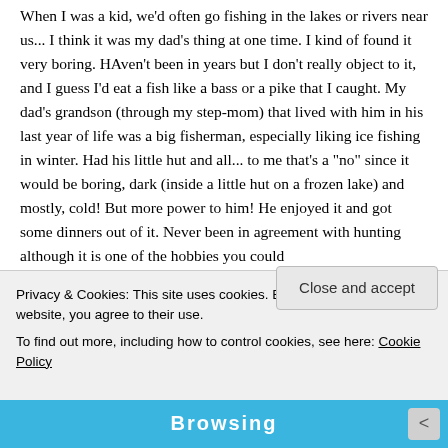When I was a kid, we'd often go fishing in the lakes or rivers near us... I think it was my dad's thing at one time. I kind of found it very boring. HAven't been in years but I don't really object to it, and I guess I'd eat a fish like a bass or a pike that I caught. My dad's grandson (through my step-mom) that lived with him in his last year of life was a big fisherman, especially liking ice fishing in winter. Had his little hut and all... to me that's a “no” since it would be boring, dark (inside a little hut on a frozen lake) and mostly, cold! But more power to him! He enjoyed it and got some dinners out of it. Never been in agreement with hunting although it is one of the hobbies you could...
Privacy & Cookies: This site uses cookies. By continuing to use this website, you agree to their use.
To find out more, including how to control cookies, see here: Cookie Policy
Close and accept
[Figure (other): Blue advertisement banner at the bottom of the page with white bold text reading 'Browsing' and a close button on the right side.]